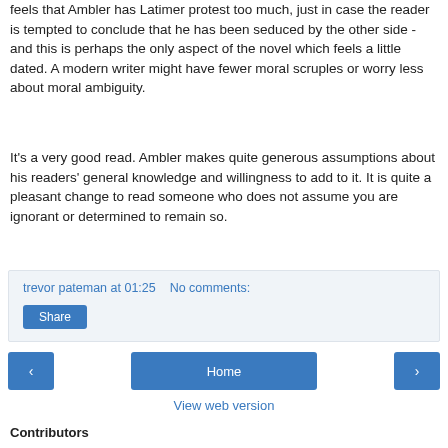feels that Ambler has Latimer protest too much, just in case the reader is tempted to conclude that he has been seduced by the other side - and this is perhaps the only aspect of the novel which feels a little dated. A modern writer might have fewer moral scruples or worry less about moral ambiguity.
It's a very good read. Ambler makes quite generous assumptions about his readers' general knowledge and willingness to add to it. It is quite a pleasant change to read someone who does not assume you are ignorant or determined to remain so.
trevor pateman at 01:25   No comments:
Share
Home
View web version
Contributors